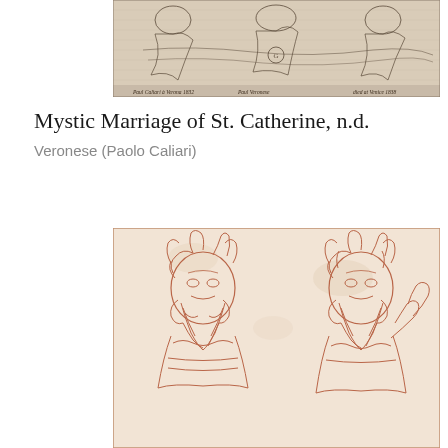[Figure (illustration): A black and white engraving showing reclining figures in classical drapery, with handwritten inscriptions at the bottom referencing 'Paul Caliari' and 'Paul Veronese', 'Verona 1832' and 'died at Venice 1838'.]
Mystic Marriage of St. Catherine, n.d.
Veronese (Paolo Caliari)
[Figure (illustration): A red chalk drawing showing two bearded male figures in bust form, depicted with curly hair and elaborately detailed clothing or armor, on a warm cream-colored paper.]